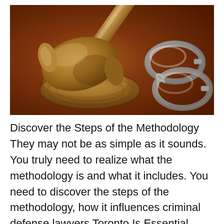[Figure (photo): Close-up photo of a wooden judge's gavel on its sound block (sounding board), with a pair of silver metal handcuffs visible in the background on a warm brown wooden surface.]
Discover the Steps of the Methodology They may not be as simple as it sounds. You truly need to realize what the methodology is and what it includes. You need to discover the steps of the methodology, how it influences criminal defense lawyers Toronto Is Essential